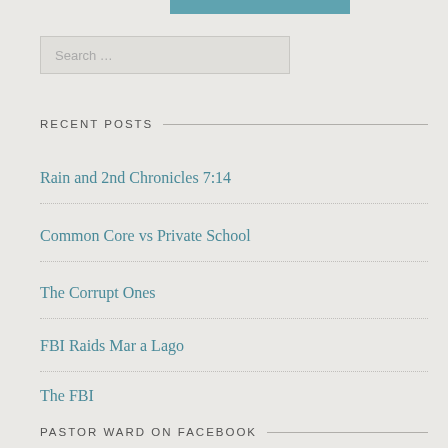[Figure (other): Teal/blue-green navigation button bar, partially cropped at top of page]
Search ...
RECENT POSTS
Rain and 2nd Chronicles 7:14
Common Core vs Private School
The Corrupt Ones
FBI Raids Mar a Lago
The FBI
PASTOR WARD ON FACEBOOK